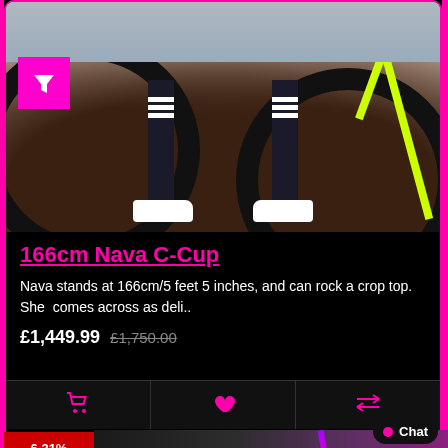[Figure (photo): Person wearing black knee-high socks with white stripes and white sneakers, standing next to a neon yellow bicycle. Store setting with wooden floor.]
166cm Nava C-Cup
Nava stands at 166cm/5 feet 5 inches, and can rock a crop top.  She  comes across as deli..
£1,449.99   £1,750.00
6.31% off
Chat